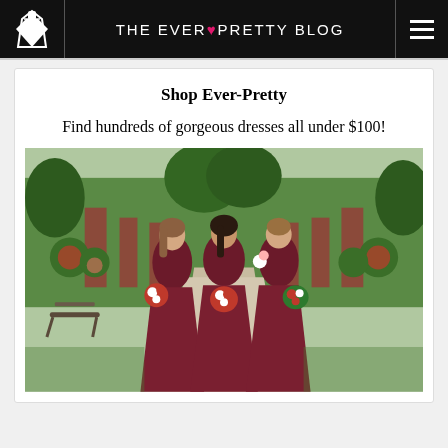THE EVER♥PRETTY BLOG
Shop Ever-Pretty
Find hundreds of gorgeous dresses all under $100!
[Figure (photo): Three women wearing long dark red/burgundy bridesmaid dresses, holding red and white bouquets, standing on a garden path with brick pillars and rose bushes in the background.]